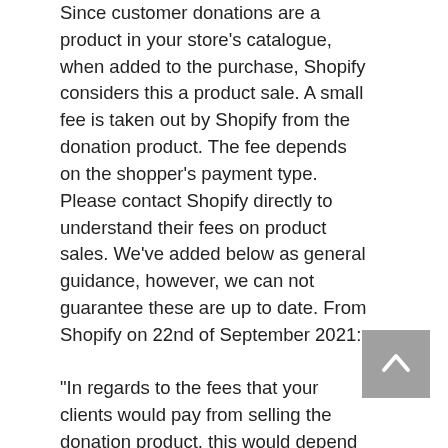Since customer donations are a product in your store's catalogue, when added to the purchase, Shopify considers this a product sale. A small fee is taken out by Shopify from the donation product. The fee depends on the shopper's payment type. Please contact Shopify directly to understand their fees on product sales. We've added below as general guidance, however, we can not guarantee these are up to date. From Shopify on 22nd of September 2021:

"In regards to the fees that your clients would pay from selling the donation product, this would depend on the payment gateway that they're using, as
[Figure (other): Back to top button: grey square with white upward-pointing chevron arrow]